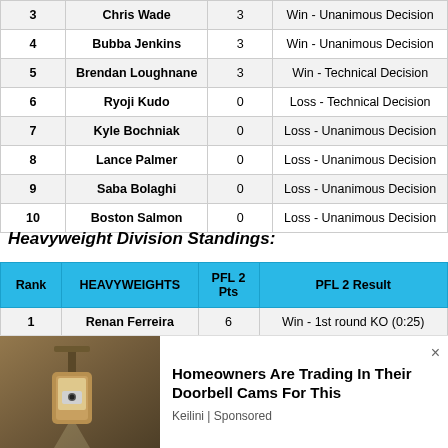| Rank | Fighter | PFL 2 Pts | PFL 2 Result |
| --- | --- | --- | --- |
| 3 | Chris Wade | 3 | Win - Unanimous Decision |
| 4 | Bubba Jenkins | 3 | Win - Unanimous Decision |
| 5 | Brendan Loughnane | 3 | Win - Technical Decision |
| 6 | Ryoji Kudo | 0 | Loss - Technical Decision |
| 7 | Kyle Bochniak | 0 | Loss - Unanimous Decision |
| 8 | Lance Palmer | 0 | Loss - Unanimous Decision |
| 9 | Saba Bolaghi | 0 | Loss - Unanimous Decision |
| 10 | Boston Salmon | 0 | Loss - Unanimous Decision |
Heavyweight Division Standings:
| Rank | HEAVYWEIGHTS | PFL 2 Pts | PFL 2 Result |
| --- | --- | --- | --- |
| 1 | Renan Ferreira | 6 | Win - 1st round KO (0:25) |
| 2 | Denis Goltsov | 6 | Win - 1st round TKO (3:20) |
| 3 | Bruno Cappelozza | 6 | Win - 1st round TKO (4:24) |
| 4 | Ante Delija | 5 | Win - 2nd round TKO (0:59) |
[Figure (photo): Advertisement showing a security camera on a wall lamp with text 'Homeowners Are Trading In Their Doorbell Cams For This' by Keilini | Sponsored]